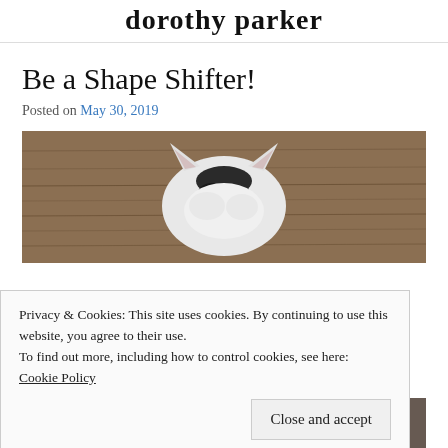dorothy parker
Be a Shape Shifter!
Posted on May 30, 2019
[Figure (photo): Photo of a cat viewed from above, lying on a wooden floor, showing the top of its black and white head/ears against brown wooden planks.]
Privacy & Cookies: This site uses cookies. By continuing to use this website, you agree to their use.
To find out more, including how to control cookies, see here:
Cookie Policy
[Figure (photo): Bottom portion of a photo showing a cat, partially cropped, on a wooden floor.]